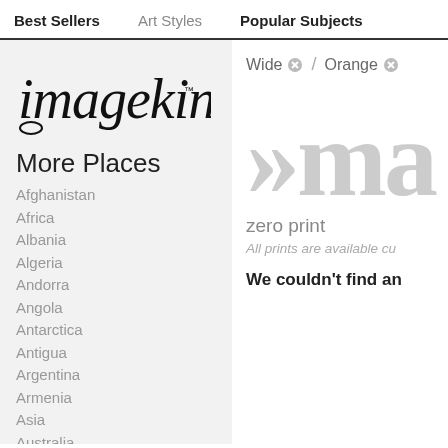Best Sellers   Art Styles   Popular Subjects
[Figure (logo): imagekind handwritten logo with trademark symbol]
More Places
Afghanistan
Africa
Albania
Algeria
Andorra
Angola
Antarctica
Antigua
Argentina
Armenia
Asia
Australia
Austria
Azerbaijan
Bahamas
Bahrain
Wide ⊗ / Orange ⊗
[Figure (other): Large decorative »ma text in gray serif font]
zero print
All prints are available cu...
We couldn't find an...